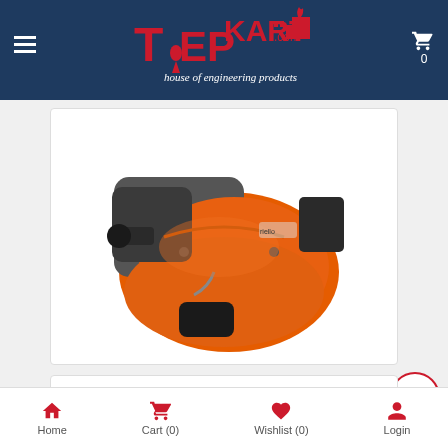TepsKart.com — house of engineering products
[Figure (photo): Industrial oil burner BTL 14 50Hz, orange metallic body with black motor components, product photograph on white background]
INDUSTRIAL BURNER-BTL 14 50HZ
Home | Cart (0) | Wishlist (0) | Login